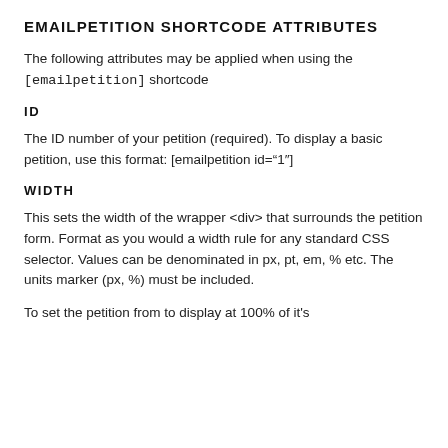EMAILPETITION SHORTCODE ATTRIBUTES
The following attributes may be applied when using the [emailpetition] shortcode
ID
The ID number of your petition (required). To display a basic petition, use this format: [emailpetition id="1"]
WIDTH
This sets the width of the wrapper <div> that surrounds the petition form. Format as you would a width rule for any standard CSS selector. Values can be denominated in px, pt, em, % etc. The units marker (px, %) must be included.
To set the petition from to display at 100% of it's